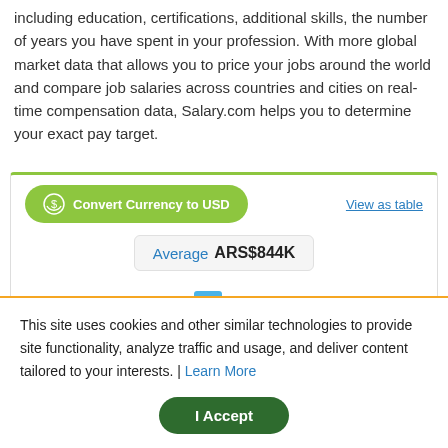including education, certifications, additional skills, the number of years you have spent in your profession. With more global market data that allows you to price your jobs around the world and compare job salaries across countries and cities on real-time compensation data, Salary.com helps you to determine your exact pay target.
[Figure (infographic): Salary range widget showing Convert Currency to USD button, View as table link, Average ARS$844K bubble, Min ARS$653K, Max ARS$1,076K with bar chart elements]
This site uses cookies and other similar technologies to provide site functionality, analyze traffic and usage, and deliver content tailored to your interests. | Learn More
I Accept